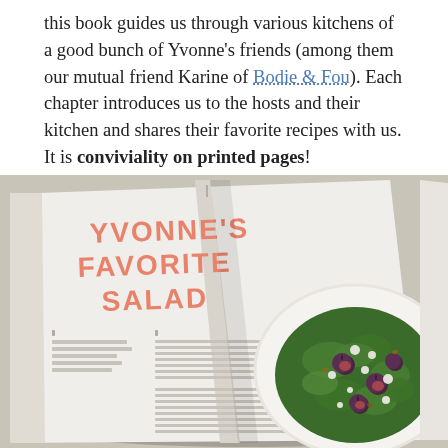this book guides us through various kitchens of a good bunch of Yvonne's friends (among them our mutual friend Karine of Bodie & Fou). Each chapter introduces us to the hosts and their kitchen and shares their favorite recipes with us. It is conviviality on printed pages!
[Figure (photo): Open cookbook showing a page titled 'Yvonne's Favorite Salad' in salmon/coral colored large letters on the left page, with a photograph of a green salad with figs and cheese on a white plate visible on the right page. The book is photographed from above on a light surface.]